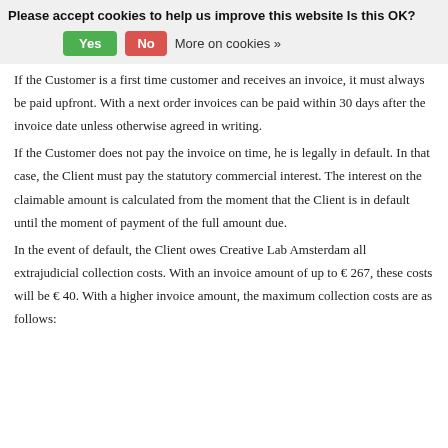Please accept cookies to help us improve this website Is this OK? Yes No More on cookies »
If the Customer is a first time customer and receives an invoice, it must always be paid upfront. With a next order invoices can be paid within 30 days after the invoice date unless otherwise agreed in writing.
If the Customer does not pay the invoice on time, he is legally in default. In that case, the Client must pay the statutory commercial interest. The interest on the claimable amount is calculated from the moment that the Client is in default until the moment of payment of the full amount due.
In the event of default, the Client owes Creative Lab Amsterdam all extrajudicial collection costs. With an invoice amount of up to € 267, these costs will be € 40. With a higher invoice amount, the maximum collection costs are as follows: